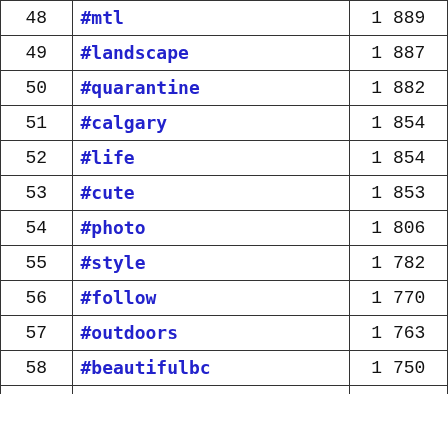| Rank | Hashtag | Count |
| --- | --- | --- |
| 48 | #mtl | 1 889 |
| 49 | #landscape | 1 887 |
| 50 | #quarantine | 1 882 |
| 51 | #calgary | 1 854 |
| 52 | #life | 1 854 |
| 53 | #cute | 1 853 |
| 54 | #photo | 1 806 |
| 55 | #style | 1 782 |
| 56 | #follow | 1 770 |
| 57 | #outdoors | 1 763 |
| 58 | #beautifulbc | 1 750 |
| 59 | ... | 1 7?? |